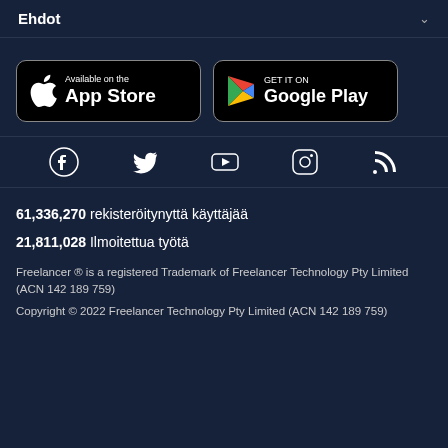Ehdot
[Figure (screenshot): Available on the App Store button]
[Figure (screenshot): GET IT ON Google Play button]
[Figure (infographic): Social media icons: Facebook, Twitter, YouTube, Instagram, RSS feed]
61,336,270  rekisteröitynyttä käyttäjää
21,811,028  Ilmoitettua työtä
Freelancer ® is a registered Trademark of Freelancer Technology Pty Limited (ACN 142 189 759)
Copyright © 2022 Freelancer Technology Pty Limited (ACN 142 189 759)